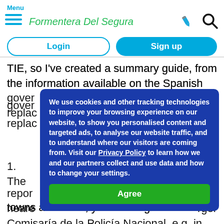Menu | Formentera Del Segura
Login | Sign up
TIE, so I've created a summary guide, from the information available on the Spanish government website, to obtain a replacement TIE
We use cookies and other tracking technologies to improve your browsing experience on our website, to show you personalised content and targeted ads, to analyse our website traffic, and to understand where our visitors are coming from. Visit our Privacy Policy to learn how we and our partners collect and use data and how to change your settings.
Agree
1.  The first step is to report the loss... your nearest... larger towns and cities, you would go to the Comisaría de la Policía Nacional, e.g. in Orihuela and Alicante.
2.  Then make an appointment ("cita previa") at